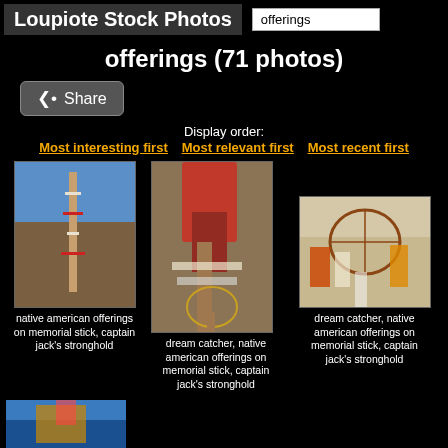Loupiote Stock Photos
offerings (search box)
offerings (71 photos)
Share
Display order:
Most interesting first   Most relevant first   Most recent first
[Figure (photo): Native American offerings on memorial stick against blue sky and rocky terrain, captain jack's stronghold]
native american offerings on memorial stick, captain jack's stronghold
[Figure (photo): Dream catcher and red cloth offerings on memorial stick in desert landscape, captain jack's stronghold]
dream catcher, native american offerings on memorial stick, captain jack's stronghold
[Figure (photo): Dream catcher with colorful cloth and native american offerings on memorial stick in open desert landscape]
dream catcher, native american offerings on memorial stick, captain jack's stronghold
[Figure (photo): Partial view of colorful native american offerings or decorations, partially visible at bottom of page]